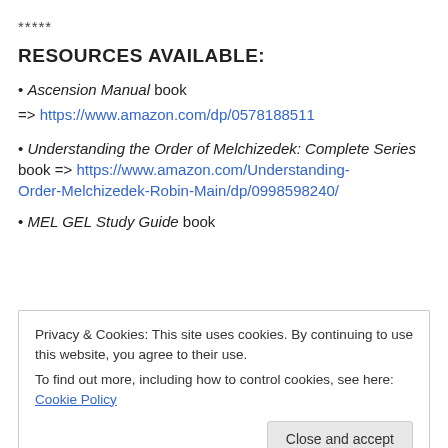*****
RESOURCES AVAILABLE:
• Ascension Manual book
=> https://www.amazon.com/dp/0578188511
• Understanding the Order of Melchizedek: Complete Series book => https://www.amazon.com/Understanding-Order-Melchizedek-Robin-Main/dp/0998598240/
• MEL GEL Study Guide book
Privacy & Cookies: This site uses cookies. By continuing to use this website, you agree to their use. To find out more, including how to control cookies, see here: Cookie Policy
Close and accept